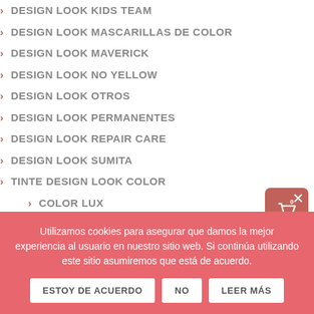> DESIGN LOOK KIDS TEAM
> DESIGN LOOK MASCARILLAS DE COLOR
> DESIGN LOOK MAVERICK
> DESIGN LOOK NO YELLOW
> DESIGN LOOK OTROS
> DESIGN LOOK PERMANENTES
> DESIGN LOOK REPAIR CARE
> DESIGN LOOK SUMITA
> TINTE DESIGN LOOK COLOR
> COLOR LUX
> COLOR LUX CRAZY
> DESIGN LOOK-MAVERICK
Utilizamos cookies para asegurar que damos la mejor experiencia al usuario en nuestro sitio web. Si continúa utilizando este sitio asumiremos que está de acuerdo.
ESTOY DE ACUERDO
NO
LEER MÁS